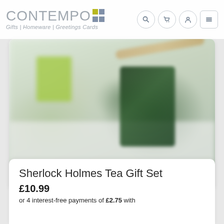CONTEMPO Gifts | Homeware | Greetings Cards
[Figure (photo): Blurred product photo showing a green gift box/cup, a dark green greeting card with floral design, a wooden stick, and white paper background — product image for Sherlock Holmes Tea Gift Set]
Sherlock Holmes Tea Gift Set
£10.99
or 4 interest-free payments of £2.75 with